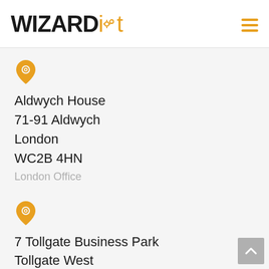WIZARDit
[Figure (other): Orange location pin icon]
Aldwych House
71-91 Aldwych
London
WC2B 4HN
London Office
[Figure (other): Orange location pin icon]
7 Tollgate Business Park
Tollgate West
Colchester
Essex
CO3 8AB
Colchester Office